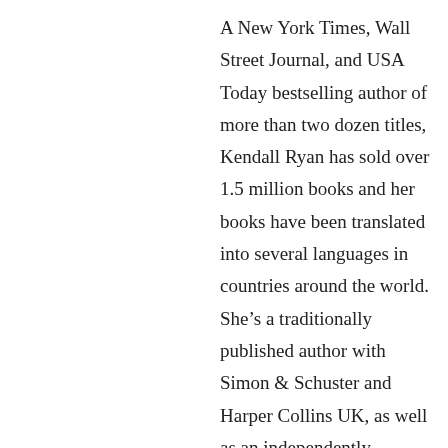A New York Times, Wall Street Journal, and USA Today bestselling author of more than two dozen titles, Kendall Ryan has sold over 1.5 million books and her books have been translated into several languages in countries around the world. She's a traditionally published author with Simon & Schuster and Harper Collins UK, as well as an independently published author. Since she first began self-publishing in 2012, she's appeared at #1 on Barnes & Noble and iBooks charts around the world. Her books have also appeared on the New York Times and USA Today bestseller lists more than three dozen times.